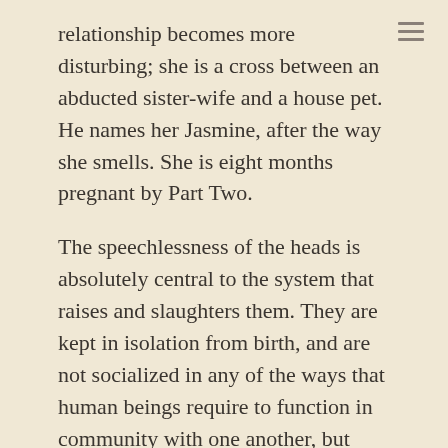relationship becomes more disturbing; she is a cross between an abducted sister-wife and a house pet. He names her Jasmine, after the way she smells. She is eight months pregnant by Part Two.
The speechlessness of the heads is absolutely central to the system that raises and slaughters them. They are kept in isolation from birth, and are not socialized in any of the ways that human beings require to function in community with one another, but they are clearly not stupid. No genetic modification is made to their brains, and we can infer that the intellectual potential of an average head is still that of an average human. Their consciousness is complex enough that they seem able to understand futurity; when Jasmine is